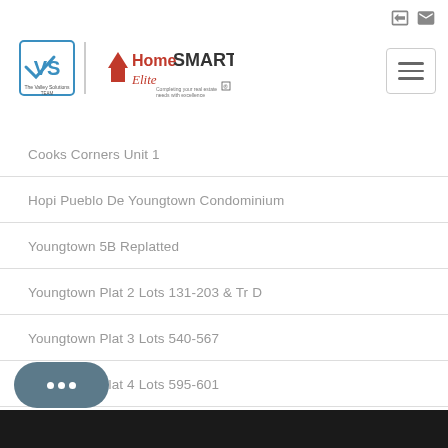[Figure (logo): The Valley Solutions Team and HomeSmart Elite Group logo]
Cooks Corners Unit 1
Hopi Pueblo De Youngtown Condominium
Youngtown 5B Replatted
Youngtown Plat 2 Lots 131-203 & Tr D
Youngtown Plat 3 Lots 540-567
Youngtown Plat 4 Lots 595-601